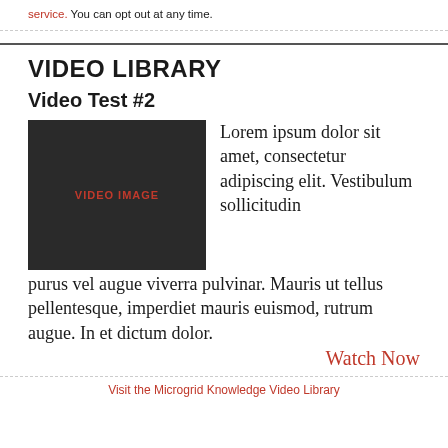service. You can opt out at any time.
VIDEO LIBRARY
Video Test #2
[Figure (other): Dark rectangular video thumbnail placeholder with red text reading 'VIDEO IMAGE']
Lorem ipsum dolor sit amet, consectetur adipiscing elit. Vestibulum sollicitudin purus vel augue viverra pulvinar. Mauris ut tellus pellentesque, imperdiet mauris euismod, rutrum augue. In et dictum dolor.
Watch Now
Visit the Microgrid Knowledge Video Library